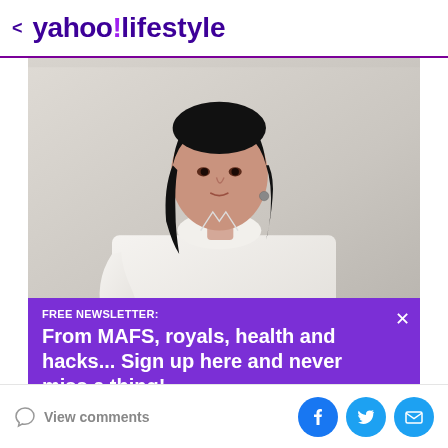< yahoo!lifestyle
[Figure (photo): A woman with dark shoulder-length hair wearing a white button-up oversized shirt, photographed against a light/white background, looking over her shoulder.]
FREE NEWSLETTER:
From MAFS, royals, health and hacks... Sign up here and never miss a thing!
View comments